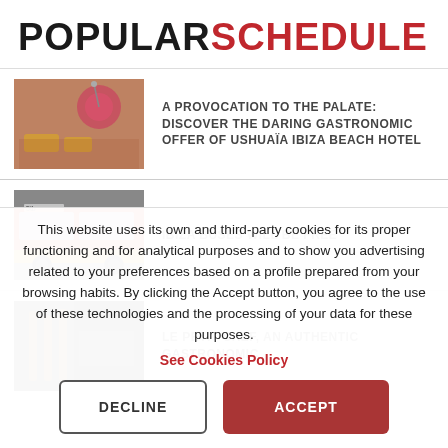POPULARSCHEDULE
[Figure (photo): Food and cocktail items at a beach hotel restaurant]
A PROVOCATION TO THE PALATE: DISCOVER THE DARING GASTRONOMIC OFFER OF USHUAÏA IBIZA BEACH HOTEL
[Figure (photo): Red and yellow Ibiza public bus number 5tb]
IBIZA BUSES WILL BE FREE
[Figure (photo): Le Petit Chef gastronomic experience setting]
LE PETIT CHEF, AN AUTHENTIC GASTRONOMIC
This website uses its own and third-party cookies for its proper functioning and for analytical purposes and to show you advertising related to your preferences based on a profile prepared from your browsing habits. By clicking the Accept button, you agree to the use of these technologies and the processing of your data for these purposes.
See Cookies Policy
DECLINE
ACCEPT